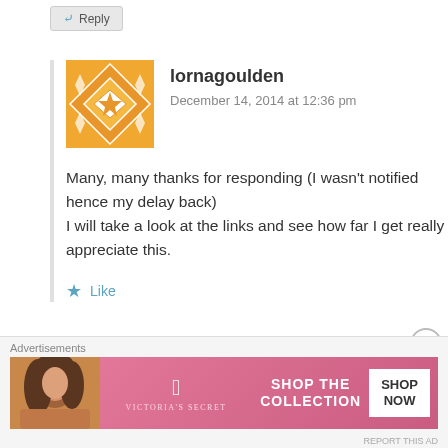Reply
lornagoulden
December 14, 2014 at 12:36 pm
Many, many thanks for responding (I wasn’t notified hence my delay back)
I will take a look at the links and see how far I get really appreciate this.
Like
Advertisements
[Figure (photo): Victoria's Secret advertisement banner with a woman, VS logo, and SHOP THE COLLECTION SHOP NOW text]
REPORT THIS AD